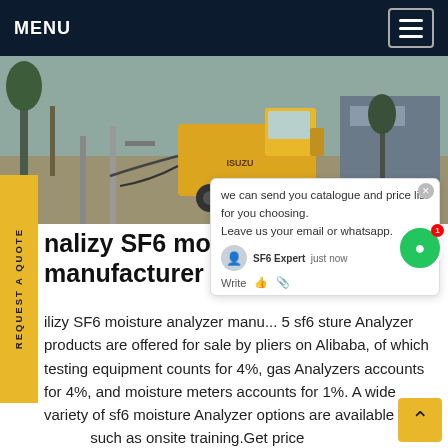MENU
[Figure (photo): Yellow Isuzu truck parked at an industrial site with pipes and equipment visible in the background.]
nalizy SF6 moisture analyzer manufacturer
ilizy SF6 moisture analyzer manu... 5 sf6 sture Analyzer products are offered for sale by pliers on Alibaba, of which testing equipment counts for 4%, gas Analyzers accounts for 4%, and moisture meters accounts for 1%. A wide variety of sf6 moisture Analyzer options are available to you such as onsite training.Get price